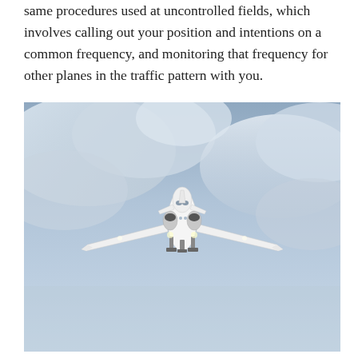same procedures used at uncontrolled fields, which involves calling out your position and intentions on a common frequency, and monitoring that frequency for other planes in the traffic pattern with you.
[Figure (photo): A white business jet aircraft photographed head-on in flight against a cloudy blue-grey sky, with landing gear down, wings level, and engines visible on the rear fuselage.]